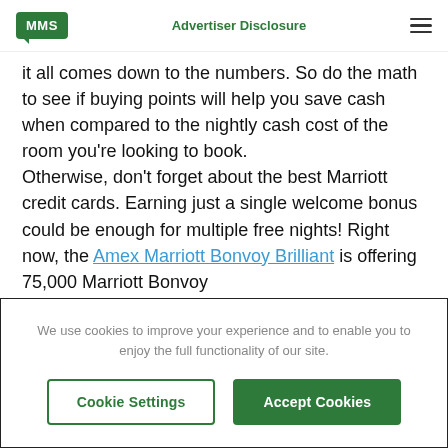MMS | Advertiser Disclosure
it all comes down to the numbers. So do the math to see if buying points will help you save cash when compared to the nightly cash cost of the room you're looking to book.

Otherwise, don't forget about the best Marriott credit cards. Earning just a single welcome bonus could be enough for multiple free nights! Right now, the Amex Marriott Bonvoy Brilliant is offering 75,000 Marriott Bonvoy
We use cookies to improve your experience and to enable you to enjoy the full functionality of our site.
Cookie Settings | Accept Cookies